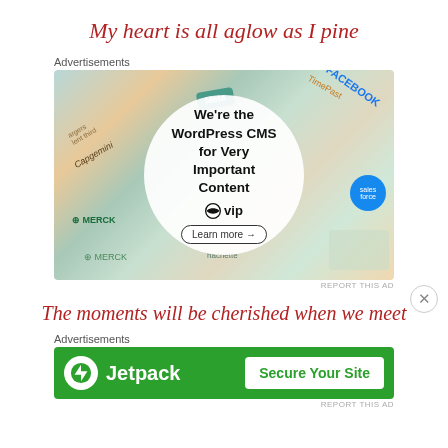My heart is all aglow as I pine
Advertisements
[Figure (screenshot): WordPress VIP advertisement showing company logos (Meta, Facebook, Merck, Salesforce, Capgemini, Hachette) arranged around a central white circle with text: 'We're the WordPress CMS for Very Important Content' with WordPress VIP logo and 'Learn more' button.]
REPORT THIS AD
The moments will be cherished when we meet
Advertisements
[Figure (screenshot): Jetpack advertisement with green background showing Jetpack logo on left and 'Secure Your Site' button on right.]
REPORT THIS AD